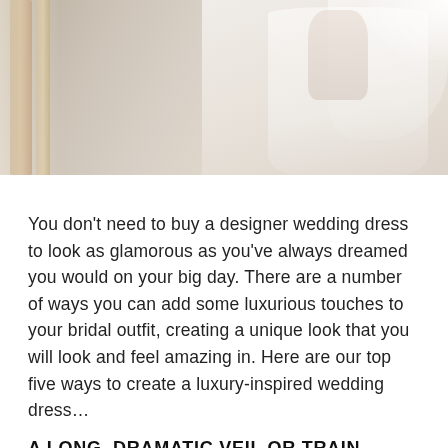[Figure (photo): A bride in a white wedding dress with a long veil, standing near wooden furniture in a bright room with curtains]
You don't need to buy a designer wedding dress to look as glamorous as you've always dreamed you would on your big day. There are a number of ways you can add some luxurious touches to your bridal outfit, creating a unique look that you will look and feel amazing in. Here are our top five ways to create a luxury-inspired wedding dress…
A LONG, DRAMATIC VEIL OR TRAIN
Nothing says, 'designer wedding gown' more than adding some dramatic detail to your bridal outfit. In fact, these are two couture bridal trends that never seem to go out of style! There are a number of ways